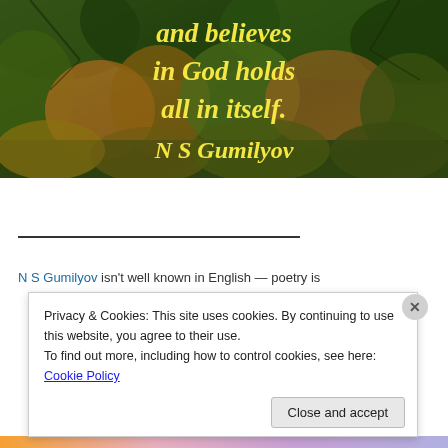[Figure (illustration): Forest autumn landscape with overlaid italic bold yellow quote text reading 'and believes in God holds all in itself.' attributed to 'N S Gumilyov']
N S Gumilyov isn't well known in English — poetry is
Privacy & Cookies: This site uses cookies. By continuing to use this website, you agree to their use.
To find out more, including how to control cookies, see here: Cookie Policy
Close and accept